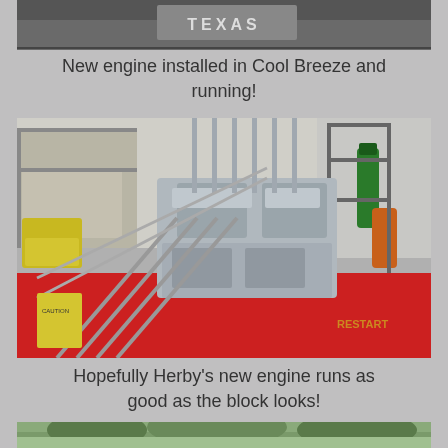[Figure (photo): Partial view of a boat or vehicle with Texas text visible, cropped at top of page]
New engine installed in Cool Breeze and running!
[Figure (photo): A polished/chrome engine block sitting on a red surface with metal rods protruding, in a garage or workshop setting with various items in background]
Hopefully Herby's new engine runs as good as the block looks!
[Figure (photo): Bottom portion of an outdoor photo showing trees, partially cropped]